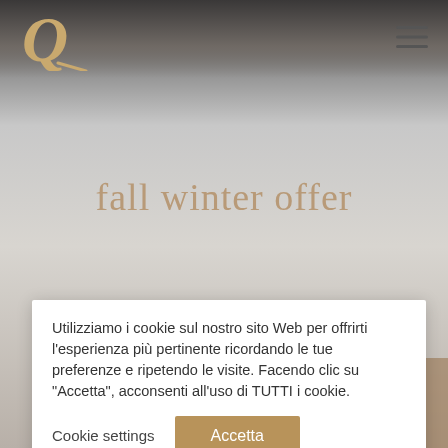[Figure (logo): Stylized Q logo in gold/tan color in top left header area]
fall winter offer
[Figure (photo): Partial photo of a restaurant/dining scene visible at the bottom of the page]
Utilizziamo i cookie sul nostro sito Web per offrirti l'esperienza più pertinente ricordando le tue preferenze e ripetendo le visite. Facendo clic su "Accetta", acconsenti all'uso di TUTTI i cookie.
Cookie settings
Accetta